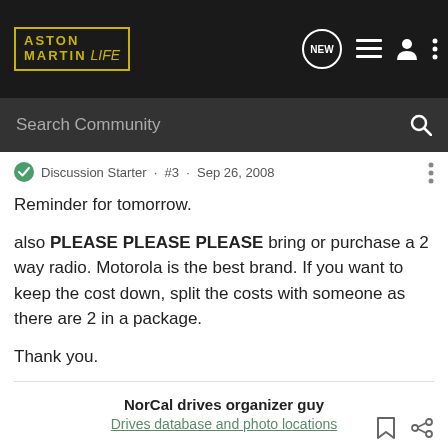Aston Martin Life — navigation bar with search
Discussion Starter · #3 · Sep 26, 2008
Reminder for tomorrow.

also PLEASE PLEASE PLEASE bring or purchase a 2 way radio. Motorola is the best brand. If you want to keep the cost down, split the costs with someone as there are 2 in a package.

Thank you.
NorCal drives organizer guy
Drives database and photo locations